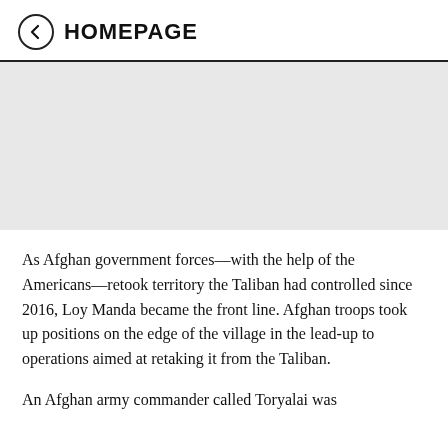HOMEPAGE
[Figure (photo): Gray placeholder image area representing a photograph]
As Afghan government forces—with the help of the Americans—retook territory the Taliban had controlled since 2016, Loy Manda became the front line. Afghan troops took up positions on the edge of the village in the lead-up to operations aimed at retaking it from the Taliban.
An Afghan army commander called Toryalai was